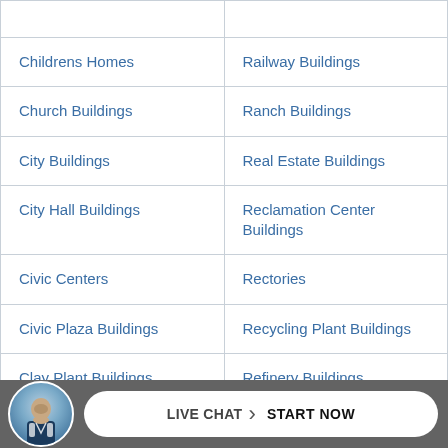|  |  |
| Childrens Homes | Railway Buildings |
| Church Buildings | Ranch Buildings |
| City Buildings | Real Estate Buildings |
| City Hall Buildings | Reclamation Center Buildings |
| Civic Centers | Rectories |
| Civic Plaza Buildings | Recycling Plant Buildings |
| Clay Plant Buildings | Refinery Buildings |
| Clothing Plant Buildings | Reformatory Buildings |
| Clubhouses | Refrigeration Buildings |
[Figure (other): Live chat footer bar with avatar of a businessman and a button reading LIVE CHAT / START NOW]